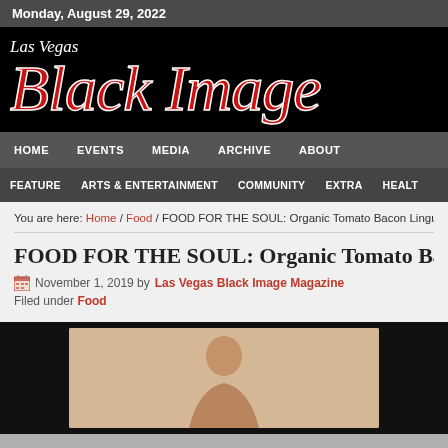Monday, August 29, 2022
[Figure (logo): Las Vegas Black Image Magazine logo — white script 'Las Vegas' above large red italic 'Black Image' text on black background]
HOME  EVENTS  MEDIA  ARCHIVE  ABOUT
FEATURE  ARTS & ENTERTAINMENT  COMMUNITY  EXTRA  HEALTH
You are here: Home / Food / FOOD FOR THE SOUL: Organic Tomato Bacon Linguini
FOOD FOR THE SOUL: Organic Tomato Baco
November 1, 2019 by Las Vegas Black Image Magazine
Filed under Food
[Figure (photo): Photograph of a person, partially visible, against a light background, displayed within a black-bordered frame]